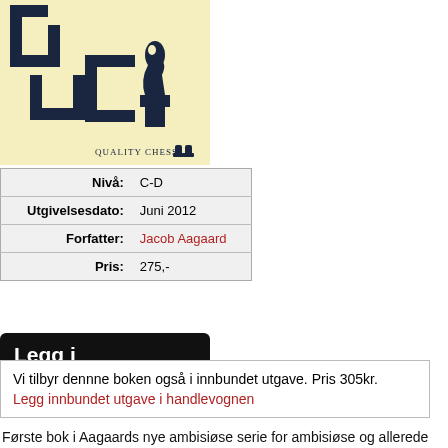[Figure (illustration): Book cover for a Quality Chess chess book. Yellow/cream background with dark navy blue abstract chess piece shapes — stylized knight and geometric block shapes. 'Quality Chess' text with two chess piece icons at bottom.]
| Nivå: | C-D |
| Utgivelsesdato: | Juni 2012 |
| Forfatter: | Jacob Aagaard |
| Pris: | 275,- |
Legg i handlevognen
Vi tilbyr dennne boken også i innbundet utgave. Pris 305kr. Legg innbundet utgave i handlevognen
Første bok i Aagaards nye ambisiøse serie for ambisiøse og allerede ganske sterke spillere. Dette er først og fremst en